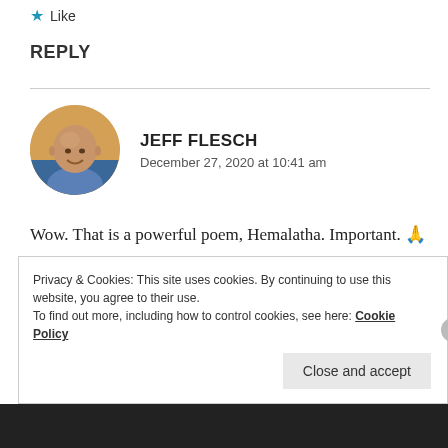★ Like
REPLY
[Figure (photo): Circular avatar photo of Jeff Flesch, a smiling bald man in a blue shirt with a sunset background]
JEFF FLESCH
December 27, 2020 at 10:41 am
Wow. That is a powerful poem, Hemalatha. Important. 🙏
★ Liked by 1 person
Privacy & Cookies: This site uses cookies. By continuing to use this website, you agree to their use.
To find out more, including how to control cookies, see here: Cookie Policy
Close and accept